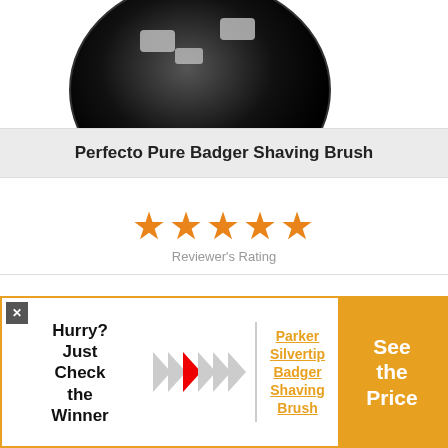[Figure (photo): Product photo of a black shaving brush handle/base viewed from above, partially cropped at top]
Perfecto Pure Badger Shaving Brush
[Figure (infographic): Five orange stars rating display with 'Reviewer's Rating' label below]
Affordable and Authentic
Price: See Here
Check on Amazon!
[Figure (infographic): Advertisement banner with close button, 'Hurry? Just Check the Winner' text with arrows, Parker Silvertip Badger Shaving Brush link, and 'See the Price' orange CTA button]